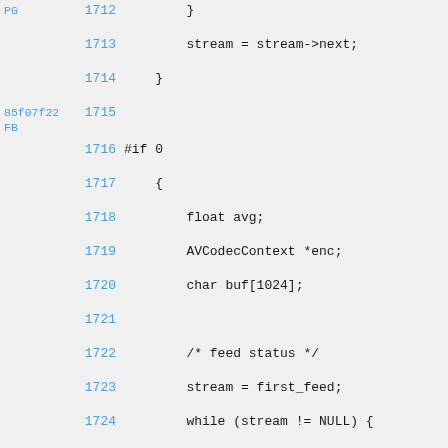Source code view with line numbers and commit hashes. Lines 1712-1727 of a C source file showing stream iteration and feed status HTML output code.